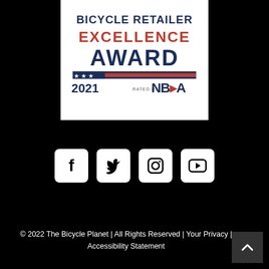[Figure (logo): Bicycle Retailer Excellence Award 2021, Rated by NBDA logo on white background]
[Figure (infographic): Social media icons: Facebook, Twitter, Instagram, YouTube - white icons on black background]
© 2022 The Bicycle Planet | All Rights Reserved | Your Privacy | Accessibility Statement